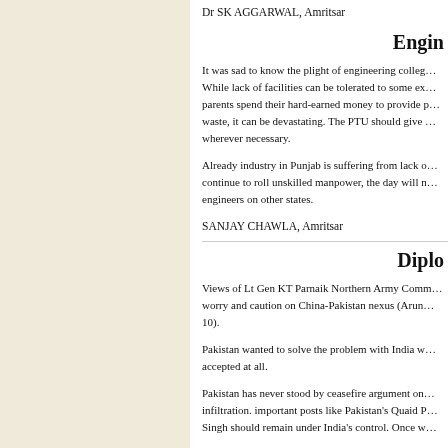Dr SK AGGARWAL, Amritsar
Engin…
It was sad to know the plight of engineering colleg… While lack of facilities can be tolerated to some ex… parents spend their hard-earned money to provide p… waste, it can be devastating. The PTU should give … wherever necessary.
Already industry in Punjab is suffering from lack o… continue to roll unskilled manpower, the day will n… engineers on other states.
SANJAY CHAWLA, Amritsar
Diplo…
Views of Lt Gen KT Parnaik Northern Army Comm… worry and caution on China-Pakistan nexus (Arun… 10).
Pakistan wanted to solve the problem with India w… accepted at all.
Pakistan has never stood by ceasefire argument on… infiltration. important posts like Pakistan's Quaid P… Singh should remain under India's control. Once w…